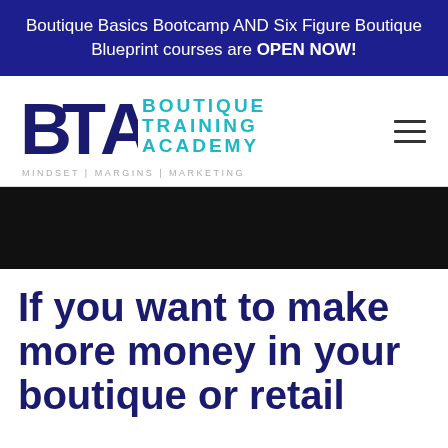Boutique Basics Bootcamp AND Six Figure Boutique Blueprint courses are OPEN NOW!
[Figure (logo): BTA Boutique Training Academy logo with tagline MINDSET | MARGINS | MARKETING]
[Figure (photo): Black banner/hero image strip]
If you want to make more money in your boutique or retail